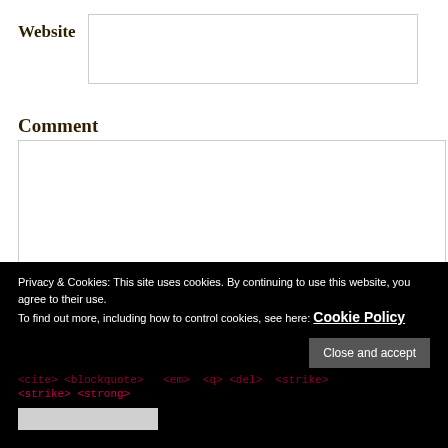Website
Comment
Privacy & Cookies: This site uses cookies. By continuing to use this website, you agree to their use.
To find out more, including how to control cookies, see here: Cookie Policy
Close and accept
<strike> <strong>